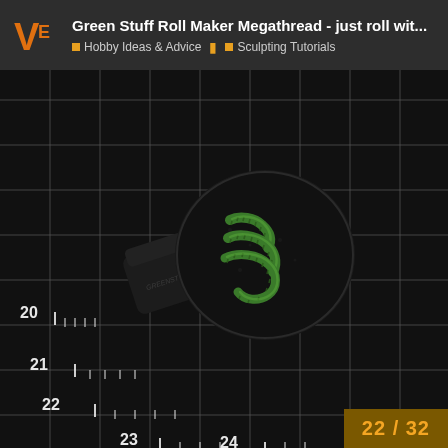Green Stuff Roll Maker Megathread - just roll wit... | Hobby Ideas & Advice | Sculpting Tutorials
[Figure (photo): A black Green Stuff World roll maker tool on a black cutting mat with ruler markings (20, 21, 22, 23, 24). On top of the tool sits a round black base with several small green worm/maggot sculpts made from green stuff modelling putty. The cutting mat background has a white grid pattern.]
22 / 32